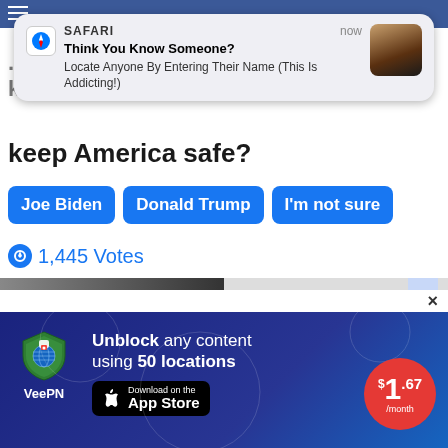[Figure (screenshot): Safari browser notification overlay on a mobile screen showing a poll about Joe Biden or Donald Trump, with VeePN ad popup at bottom and video thumbnails]
SAFARI  now
Think You Know Someone?
Locate Anyone By Entering Their Name (This Is Addicting!)
...trust Joe Biden or Donald Trump to keep America safe?
Joe Biden   Donald Trump   I'm not sure
1,445 Votes
Promoted  ×
Top Video...his
Vide...atch
Wat...d
Ban...
Unblock any content using 50 locations
Download on the App Store
$ 1.67 /month
VeePN